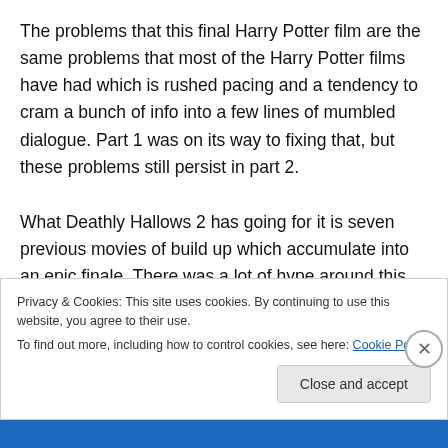The problems that this final Harry Potter film are the same problems that most of the Harry Potter films have had which is rushed pacing and a tendency to cram a bunch of info into a few lines of mumbled dialogue. Part 1 was on its way to fixing that, but these problems still persist in part 2.
What Deathly Hallows 2 has going for it is seven previous movies of build up which accumulate into an epic finale. There was a lot of hype around this last movie and if it didn't have such a rich history behind it, it would have had
Privacy & Cookies: This site uses cookies. By continuing to use this website, you agree to their use.
To find out more, including how to control cookies, see here: Cookie Policy